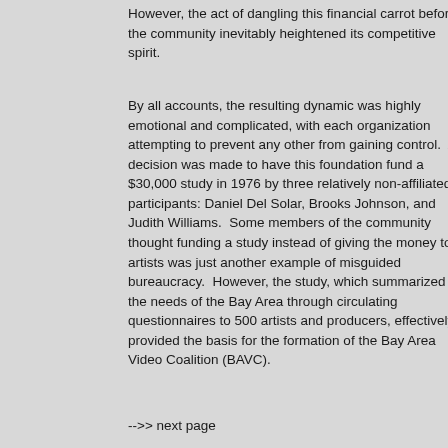However, the act of dangling this financial carrot before the community inevitably heightened its competitive spirit.
By all accounts, the resulting dynamic was highly emotional and complicated, with each organization attempting to prevent any other from gaining control.  A decision was made to have this foundation fund a $30,000 study in 1976 by three relatively non-affiliated participants: Daniel Del Solar, Brooks Johnson, and Judith Williams.  Some members of the community thought funding a study instead of giving the money to artists was just another example of misguided bureaucracy.  However, the study, which summarized the needs of the Bay Area through circulating questionnaires to 500 artists and producers, effectively provided the basis for the formation of the Bay Area Video Coalition (BAVC).
-->> next page